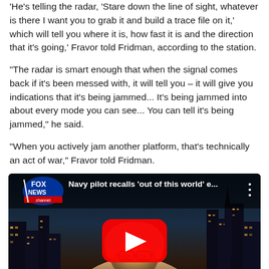'He's telling the radar, 'Stare down the line of sight, whatever is there I want you to grab it and build a trace file on it,' which will tell you where it is, how fast it is and the direction that it's going,' Fravor told Fridman, according to the station.
"The radar is smart enough that when the signal comes back if it's been messed with, it will tell you – it will give you indications that it's being jammed... It's being jammed into about every mode you can see... You can tell it's being jammed," he said.
"When you actively jam another platform, that's technically an act of war," Fravor told Fridman.
[Figure (screenshot): Fox News YouTube video thumbnail showing a man (Navy pilot) being interviewed against a nighttime city skyline background. The video title reads 'Navy pilot recalls 'out of this world' e...' with the Fox News Channel logo in the top left and a YouTube play button in the center.]